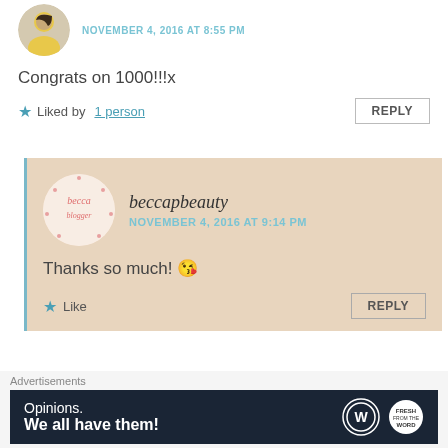[Figure (photo): Circular avatar of a person in yellow top, partially visible at top of page]
NOVEMBER 4, 2016 AT 8:55 PM
Congrats on 1000!!!x
★ Liked by 1 person
REPLY
[Figure (photo): Circular logo for beccapblogging/beccapbeauty in pink]
beccapbeauty
NOVEMBER 4, 2016 AT 9:14 PM
Thanks so much! 😘
★ Like
REPLY
Advertisements
[Figure (screenshot): Dark advertisement banner: 'Opinions. We all have them!' with WordPress and another logo]